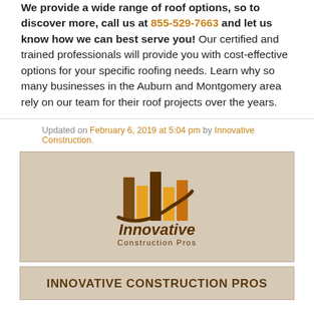Montgomery, AL and surrounding cities. We provide a wide range of roof options, so to discover more, call us at 855-529-7663 and let us know how we can best serve you! Our certified and trained professionals will provide you with cost-effective options for your specific roofing needs. Learn why so many businesses in the Auburn and Montgomery area rely on our team for their roof projects over the years.
Updated on February 6, 2019 at 5:04 pm by Innovative Construction.
[Figure (logo): Innovative Construction Pros logo with stylized building/bar chart icon in gold and brown, with swoosh curve, and text 'Innovative Construction Pros' below]
INNOVATIVE CONSTRUCTION PROS